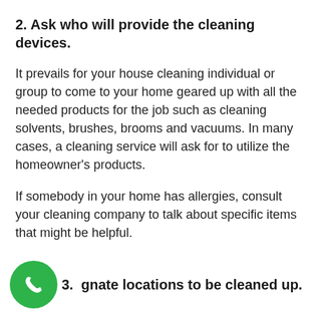2. Ask who will provide the cleaning devices.
It prevails for your house cleaning individual or group to come to your home geared up with all the needed products for the job such as cleaning solvents, brushes, brooms and vacuums. In many cases, a cleaning service will ask for to utilize the homeowner's products.
If somebody in your home has allergies, consult your cleaning company to talk about specific items that might be helpful.
3. Designate locations to be cleaned up.